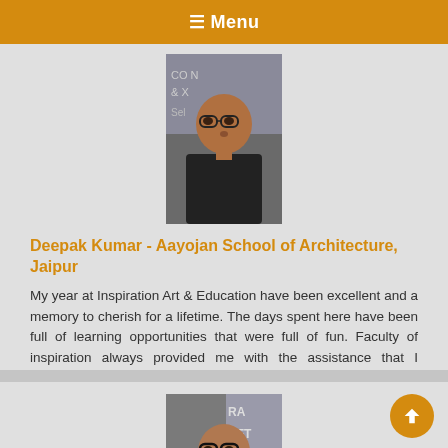☰ Menu
[Figure (photo): Profile photo of Deepak Kumar, a young man wearing glasses and a dark shirt, standing in front of a banner]
Deepak Kumar - Aayojan School of Architecture, Jaipur
My year at Inspiration Art & Education have been excellent and a memory to cherish for a lifetime. The days spent here have been full of learning opportunities that were full of fun. Faculty of inspiration always provided me with the assistance that I required for my overall development and to improve my knowledge. I will always be grateful to them
[Figure (photo): Profile photo of another student wearing glasses and a white shirt, partially cropped, in front of a banner reading RA AFT]